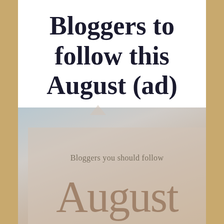Bloggers to follow this August (ad)
[Figure (illustration): A blurred beach/outdoor scene with a soft beige and blue toned background, overlaid with a semi-transparent beige card showing the text 'Bloggers you should follow' and 'August' in large letters.]
Bloggers you should follow
August